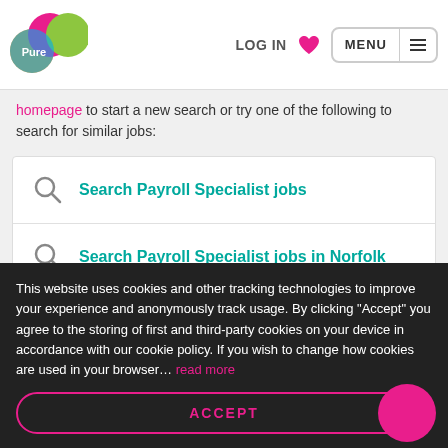Pure | LOG IN | MENU
homepage to start a new search or try one of the following to search for similar jobs:
Search Payroll Specialist jobs
Search Payroll Specialist jobs in Norfolk
Search jobs
This website uses cookies and other tracking technologies to improve your experience and anonymously track usage. By clicking "Accept" you agree to the storing of first and third-party cookies on your device in accordance with our cookie policy. If you wish to change how cookies are used in your browser... read more